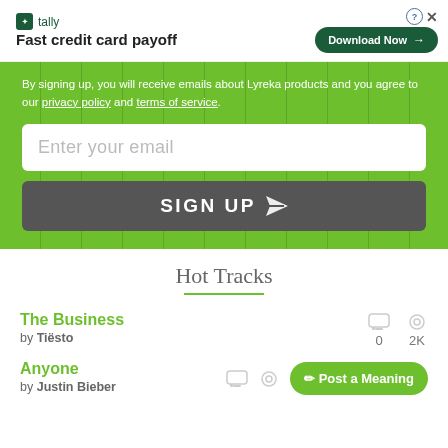[Figure (screenshot): Tally app advertisement banner with logo, 'Fast credit card payoff' tagline, and 'Download Now' button]
By signing up, you will receive emails about Lyreka products and you agree to our privacy policy and terms of service.
Enter your email
SIGN UP
Hot Tracks
The Business
by Tiësto
0  2K
Anyone
by Justin Bieber